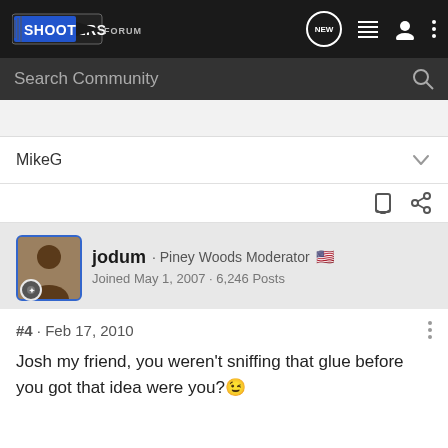SHOOTERS FORUM
Search Community
MikeG
jodum · Piney Woods Moderator
Joined May 1, 2007 · 6,246 Posts
#4 · Feb 17, 2010
Josh my friend, you weren't sniffing that glue before you got that idea were you?😉